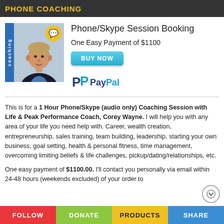PHONE COACHING
[Figure (photo): Photo of Corey Wayne with a blue coaching sidebar label and a yellow speech bubble icon in the top right corner]
Phone/Skype Session Booking
One Easy Payment of $1100
[Figure (logo): PayPal logo with blue P icon and PayPal text in blue]
This is for a 1 Hour Phone/Skype (audio only) Coaching Session with Life & Peak Performance Coach, Corey Wayne. I will help you with any area of your life you need help with. Career, wealth creation, entrepreneurship, sales training, team building, leadership, starting your own business, goal setting, health & personal fitness, time management, overcoming limiting beliefs & life challenges, pickup/dating/relationships, etc.
One easy payment of $1100.00. I'll contact you personally via email within 24-48 hours (weekends excluded) of your order to
FOLLOW   DONATE   PRODUCTS   SHARE